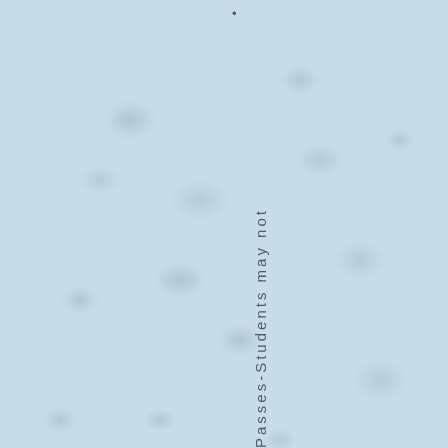[Figure (photo): Light blue sponge-like or foam background with oval/circular void shapes scattered throughout, giving a cellular or porous texture appearance.]
Passes-Students may not